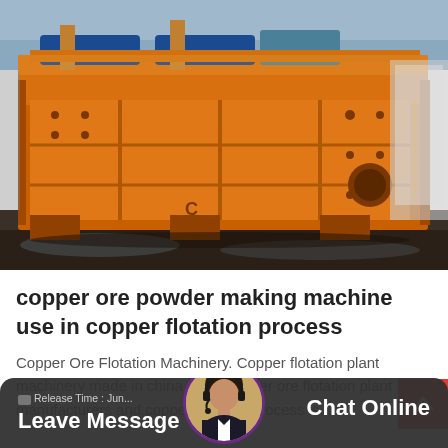[Figure (photo): Large orange industrial copper ore flotation machine or vibrating screen, photographed outdoors. The machine is bright orange with heavy steel construction, bolted panels, and mechanical components visible on top including blue motor housings.]
copper ore powder making machine use in copper flotation process
Copper Ore Flotation Machinery. Copper flotation plant machinery made in china china copper ore flotation plant manufacturers and copper flotation process is...
Release Time: Jun... | Leave Message | Chat Online